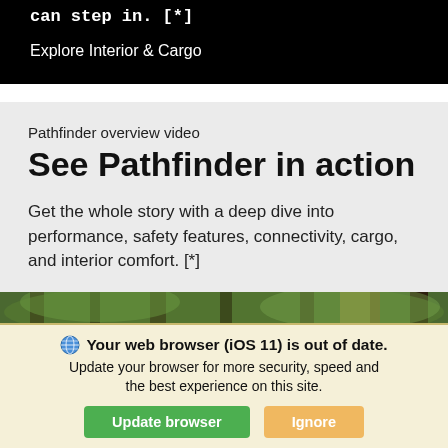can step in. [*]
Explore Interior & Cargo
Pathfinder overview video
See Pathfinder in action
Get the whole story with a deep dive into performance, safety features, connectivity, cargo, and interior comfort. [*]
[Figure (photo): Forest/nature scene strip with trees visible]
Your web browser (iOS 11) is out of date. Update your browser for more security, speed and the best experience on this site.